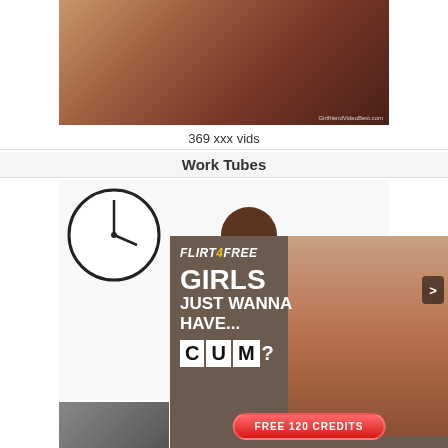[Figure (photo): Photo of a woman in a green top and dark skirt on a red/dark background, with a watermark reading GirlfriendVideoBest.com]
369 xxx vids
Work Tubes
[Figure (illustration): Animated cartoon image showing a woman with a clock in the background]
[Figure (photo): Flirt4Free advertisement overlay with text GIRLS JUST WANNA HAVE... CUM? and photos of two women, with a FREE 120 CREDITS button]
FLIRT 4 FREE
GIRLS JUST WANNA HAVE... CUM?
FREE 120 CREDITS